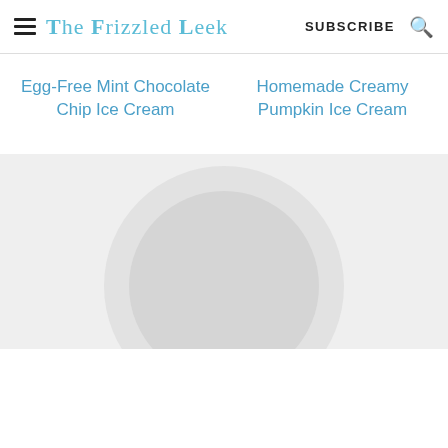The Frizzled Leek | SUBSCRIBE
Egg-Free Mint Chocolate Chip Ice Cream
Homemade Creamy Pumpkin Ice Cream
[Figure (photo): Circular photo, partially visible, showing a food item on a plate with a light grey background]